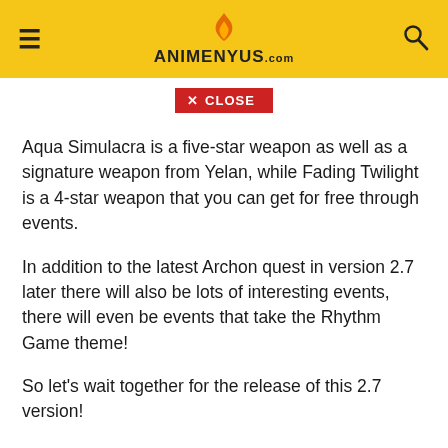ANIMENYUS.com
X CLOSE
Aqua Simulacra is a five-star weapon as well as a signature weapon from Yelan, while Fading Twilight is a 4-star weapon that you can get for free through events.
In addition to the latest Archon quest in version 2.7 later there will also be lots of interesting events, there will even be events that take the Rhythm Game theme!
So let's wait together for the release of this 2.7 version!